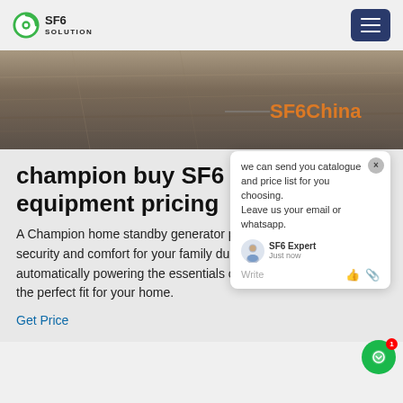SF6 SOLUTION
[Figure (photo): Hero banner image showing a textured stone/concrete surface with the text 'SF6China' in orange on the right side]
champion buy SF6 equipment pricing
A Champion home standby generator provides peace of mind, security and comfort for your family during an emergency by automatically powering the essentials or your entire home. Find the perfect fit for your home.
Get Price
[Figure (screenshot): Chat popup overlay with message: 'we can send you catalogue and price list for you choosing. Leave us your email or whatsapp.' with SF6 Expert agent, close button (x), and Write/thumbs-up/attachment icons]